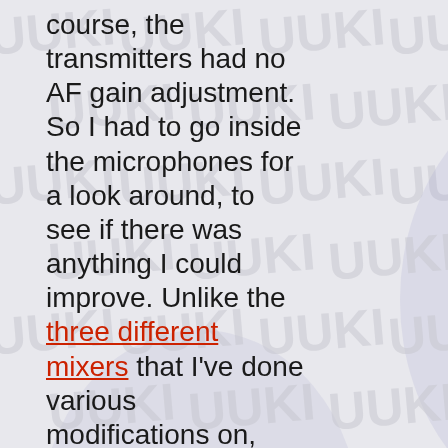course, the transmitters had no AF gain adjustment. So I had to go inside the microphones for a look around, to see if there was anything I could improve. Unlike the three different mixers that I've done various modifications on, these microphones did not offer me the